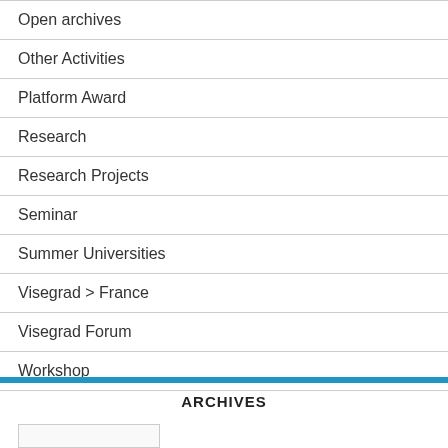Open archives
Other Activities
Platform Award
Research
Research Projects
Seminar
Summer Universities
Visegrad > France
Visegrad Forum
Workshop
ARCHIVES